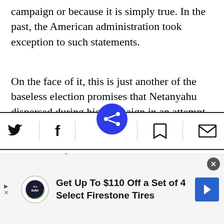campaign or because it is simply true. In the past, the American administration took exception to such statements.
On the face of it, this is just another of the baseless election promises that Netanyahu dispersed during his campaign in an attempt to siphon off votes from his partners on the right. This declaration may have been the one that cost Naftali Bennett and Ayelet Shaked, the leaders of Hayemin Hehadash, the 1,300 votes they needed to surmount the electoral
[Figure (other): Mobile browser toolbar with Twitter, Facebook, share (blue circle), bookmark, and email icons. Advertisement bar at bottom with Firestone Tires promotion.]